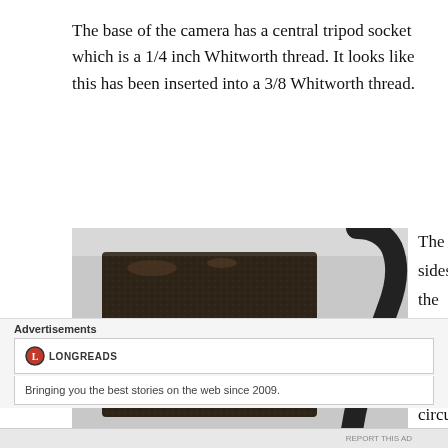The base of the camera has a central tripod socket which is a 1/4 inch Whitworth thread. It looks like this has been inserted into a 3/8 Whitworth thread.
[Figure (photo): Photograph of the base of a vintage camera showing a dark leather-covered rectangular bottom surface with a central tripod socket hole, placed on a white surface with a cable visible at top right.]
The two sides of the camera have a circular catch at
Advertisements
LONGREADS
Bringing you the best stories on the web since 2009.